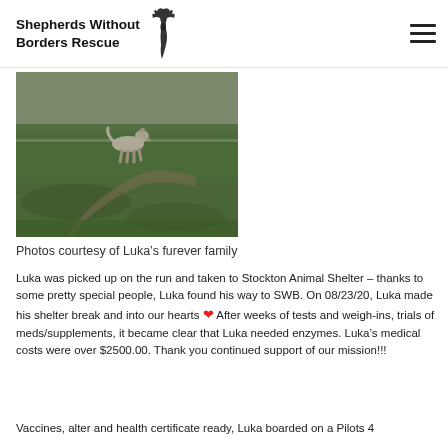Shepherds Without Borders Rescue
[Figure (photo): A dog (shepherd mix) standing on a grassy field, viewed from a distance. The grass is green and the sky is overcast.]
Photos courtesy of Luka’s furever family
Luka was picked up on the run and taken to Stockton Animal Shelter – thanks to some pretty special people, Luka found his way to SWB. On 08/23/20, Luka made his shelter break and into our hearts ❤ After weeks of tests and weigh-ins, trials of meds/supplements, it became clear that Luka needed enzymes. Luka’s medical costs were over $2500.00. Thank you continued support of our mission!!!
Vaccines, alter and health certificate ready, Luka boarded on a Pilots 4